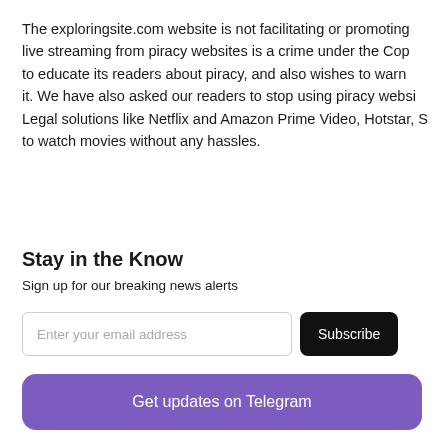The exploringsite.com website is not facilitating or promoting live streaming from piracy websites is a crime under the Copyright Act, to educate its readers about piracy, and also wishes to warn them about it. We have also asked our readers to stop using piracy websites. Legal solutions like Netflix and Amazon Prime Video, Hotstar, S... to watch movies without any hassles.
Stay in the Know
Sign up for our breaking news alerts
Enter your email address
Subscribe
Get updates on Telegram